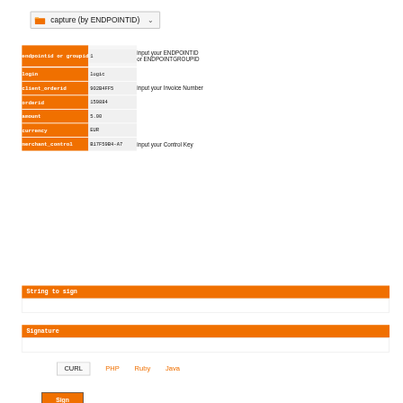capture (by ENDPOINTID)
| Field | Value | Hint |
| --- | --- | --- |
| endpointid or groupid | 1 | input your ENDPOINTID or ENDPOINTGROUPID |
| login | logic |  |
| client_orderid | 902B4FF5 | input your Invoice Number |
| orderid | 159884 |  |
| amount | 5.00 |  |
| currency | EUR |  |
| merchant_control | B17F59B4-A7 | input your Control Key |
Sign capture Request
String to sign
Signature
CURL
PHP
Ruby
Java